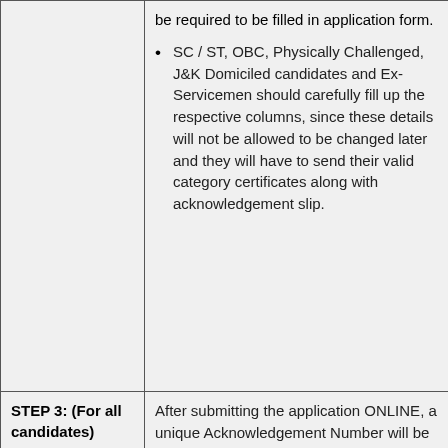be required to be filled in application form.
SC / ST, OBC, Physically Challenged, J&K Domiciled candidates and Ex-Servicemen should carefully fill up the respective columns, since these details will not be allowed to be changed later and they will have to send their valid category certificates along with acknowledgement slip.
STEP 3: (For all candidates)
After submitting the application ONLINE, a unique Acknowledgement Number will be allotted to the candidate and he/she will then be required to download two copies of the acknowledgement slip.
One Copy of